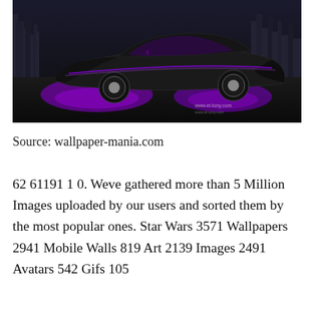[Figure (photo): A dark, dramatic photo of a Ford Mustang Shelby with glowing purple neon underglow lighting, set against a dark city skyline background with stone/cobblestone ground. Watermark reads 'www.el-tony.com'.]
Source: wallpaper-mania.com
62 61191 1 0. Weve gathered more than 5 Million Images uploaded by our users and sorted them by the most popular ones. Star Wars 3571 Wallpapers 2941 Mobile Walls 819 Art 2139 Images 2491 Avatars 542 Gifs 105